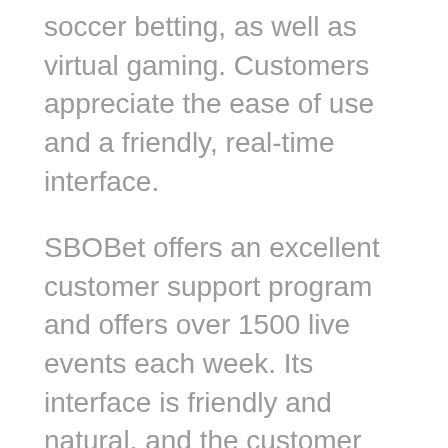soccer betting, as well as virtual gaming. Customers appreciate the ease of use and a friendly, real-time interface.
SBOBet offers an excellent customer support program and offers over 1500 live events each week. Its interface is friendly and natural, and the customer support team is helpful and friendly. Most Asian sportsbooks also offer live chat support and several languages. Customers can read customer reviews on SBOBet's website. These sportsbooks often offer excellent customer support. Some Asian sportsbooks also offer bonuses and affiliate programs. They also feature a good reputation among punters.
SBOBet has a great reputation with Indonesian